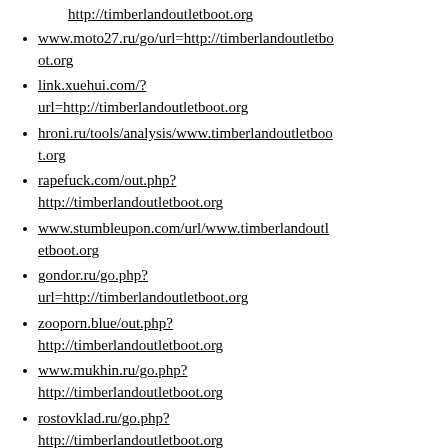http://timberlandoutletboot.org
www.moto27.ru/go/url=http://timberlandoutletboot.org
link.xuehui.com/?url=http://timberlandoutletboot.org
hroni.ru/tools/analysis/www.timberlandoutletboot.org
rapefuck.com/out.php?http://timberlandoutletboot.org
www.stumbleupon.com/url/www.timberlandoutletboot.org
gondor.ru/go.php?url=http://timberlandoutletboot.org
zooporn.blue/out.php?http://timberlandoutletboot.org
www.mukhin.ru/go.php?http://timberlandoutletboot.org
rostovklad.ru/go.php?http://timberlandoutletboot.org